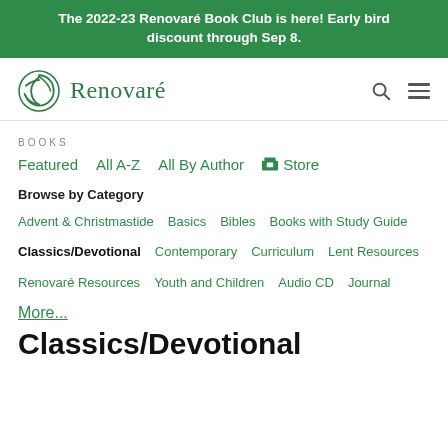The 2022-23 Renovaré Book Club is here! Early bird discount through Sep 8.
[Figure (logo): Renovaré logo with green spiral globe icon and green text 'Renovaré']
BOOKS
Featured   All A-Z   All By Author   Store
Browse by Category
Advent & Christmastide
Basics
Bibles
Books with Study Guide
Classics/Devotional (active)
Contemporary
Curriculum
Lent Resources
Renovaré Resources
Youth and Children
Audio CD
Journal
More...
Classics/Devotional